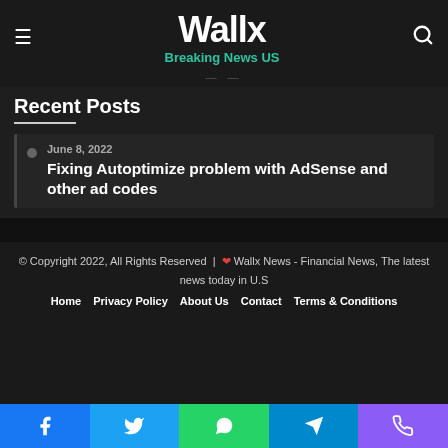Wallx Breaking News US
Recent Posts
June 8, 2022 — Fixing Autoptimize problem with AdSense and other ad codes
© Copyright 2022, All Rights Reserved | ❤ Wallx News - Financial News, The latest news today in U.S
Home | Privacy Policy | About Us | Contact | Terms & Conditions